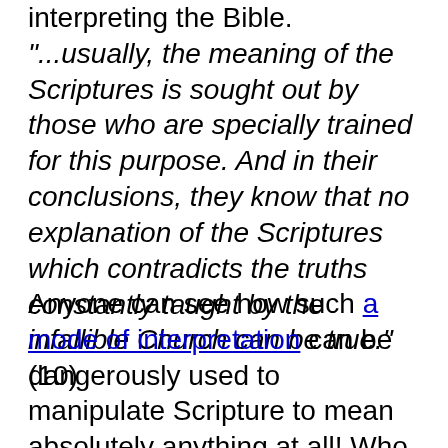interpreting the Bible. "...usually, the meaning of the Scriptures is sought out by those who are specially trained for this purpose. And in their conclusions, they know that no explanation of the Scriptures which contradicts the truths constantly taught by the infallible Church can be true." (10)
Anyone can see how such a mode of interpretation can be dangerously used to manipulate Scripture to mean absolutely anything at all! Who has not observed this of the various cults? The Moonies, Mormons, and Jehovah's Witnesses all back up their false teachings with "new...